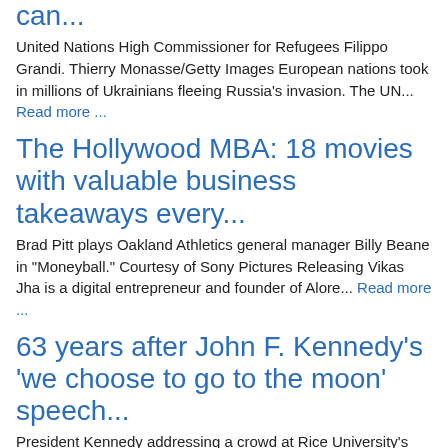can...
United Nations High Commissioner for Refugees Filippo Grandi. Thierry Monasse/Getty Images European nations took in millions of Ukrainians fleeing Russia's invasion. The UN... Read more ...
The Hollywood MBA: 18 movies with valuable business takeaways every...
Brad Pitt plays Oakland Athletics general manager Billy Beane in "Moneyball." Courtesy of Sony Pictures Releasing Vikas Jha is a digital entrepreneur and founder of Alore... Read more ...
63 years after John F. Kennedy's 'we choose to go to the moon' speech...
President Kennedy addressing a crowd at Rice University's stadium in Houston on September 12, 1962. CORBIS/Corbis via Getty Images In 1962, President John F. Kennedy delivered... Read more ...
GOP Rep. Marjorie Taylor Greene files